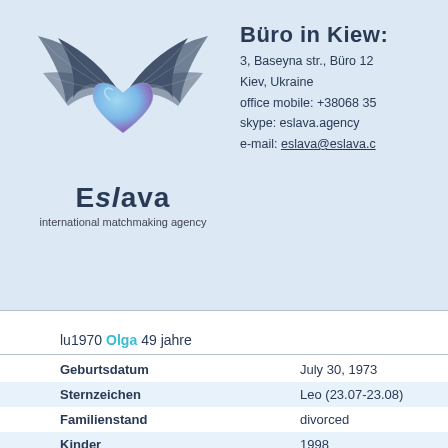[Figure (logo): Eslava international matchmaking agency logo with winged heart]
Eslava
international matchmaking agency
Büro in Kiew:
3, Baseyna str., Büro 12
Kiev, Ukraine
office mobile: +38068 35
skype: eslava.agency
e-mail: eslava@eslava.c
lu1970 Olga 49 jahre
| Geburtsdatum | July 30, 1973 |
| Sternzeichen | Leo (23.07-23.08) |
| Familienstand | divorced |
| Kinder | 1998 |